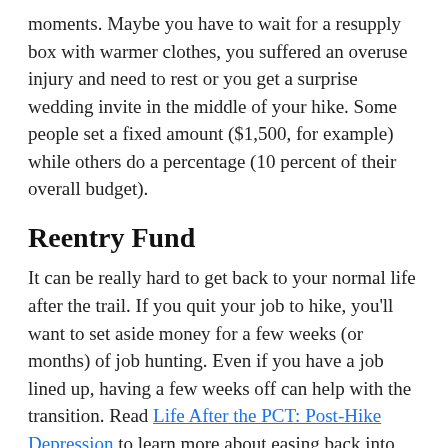moments. Maybe you have to wait for a resupply box with warmer clothes, you suffered an overuse injury and need to rest or you get a surprise wedding invite in the middle of your hike. Some people set a fixed amount ($1,500, for example) while others do a percentage (10 percent of their overall budget).
Reentry Fund
It can be really hard to get back to your normal life after the trail. If you quit your job to hike, you'll want to set aside money for a few weeks (or months) of job hunting. Even if you have a job lined up, having a few weeks off can help with the transition. Read Life After the PCT: Post-Hike Depression to learn more about easing back into society.
BYOB (Budget Your Own Budget)